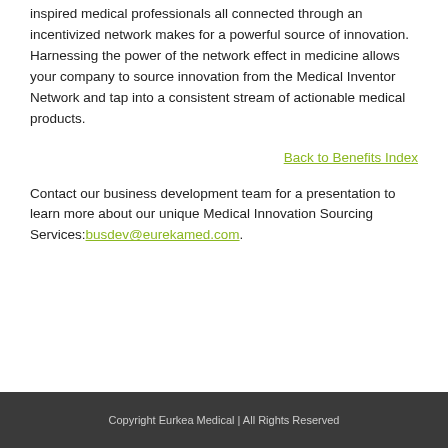inspired medical professionals all connected through an incentivized network makes for a powerful source of innovation. Harnessing the power of the network effect in medicine allows your company to source innovation from the Medical Inventor Network and tap into a consistent stream of actionable medical products.
Back to Benefits Index
Contact our business development team for a presentation to learn more about our unique Medical Innovation Sourcing Services: busdev@eurekamed.com.
Copyright Eurkea Medical | All Rights Reserved